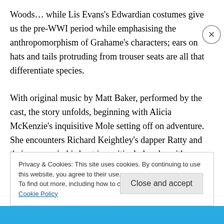Woods… while Lis Evans's Edwardian costumes give us the pre-WWI period while emphasising the anthropomorphism of Grahame's characters; ears on hats and tails protruding from trouser seats are all that differentiate species.

With original music by Matt Baker, performed by the cast, the story unfolds, beginning with Alicia McKenzie's inquisitive Mole setting off on adventure.  She encounters Richard Keightley's dapper Ratty and their voyage in his boat is positively lovely, with Daniella Beattie's lighting and
Privacy & Cookies: This site uses cookies. By continuing to use this website, you agree to their use.
To find out more, including how to control cookies, see here: Cookie Policy